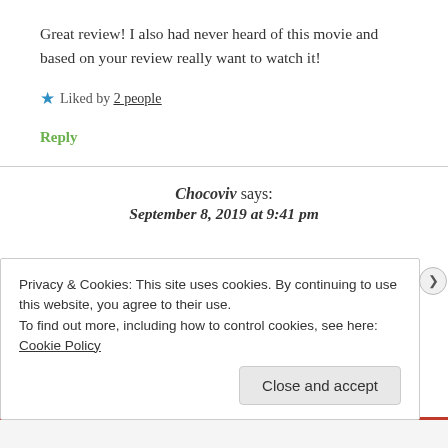Great review! I also had never heard of this movie and based on your review really want to watch it!
★ Liked by 2 people
Reply
Chocoviv says: September 8, 2019 at 9:41 pm
Privacy & Cookies: This site uses cookies. By continuing to use this website, you agree to their use.
To find out more, including how to control cookies, see here: Cookie Policy
Close and accept